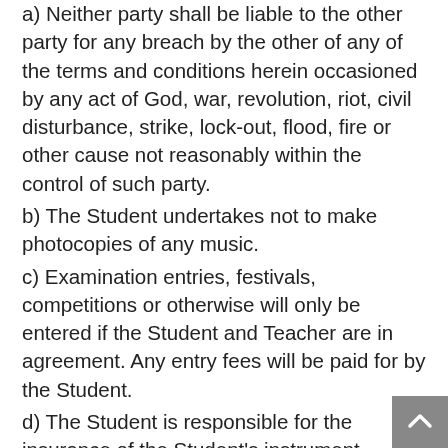a) Neither party shall be liable to the other party for any breach by the other of any of the terms and conditions herein occasioned by any act of God, war, revolution, riot, civil disturbance, strike, lock-out, flood, fire or other cause not reasonably within the control of such party.
b) The Student undertakes not to make photocopies of any music.
c) Examination entries, festivals, competitions or otherwise will only be entered if the Student and Teacher are in agreement. Any entry fees will be paid for by the Student.
d) The Student is responsible for the insurance of the Student's instrument.
e) In the interests of the Student's well-being whilst in the Teacher's care, the Teacher must be informed of any medical or other condition affecting the Student